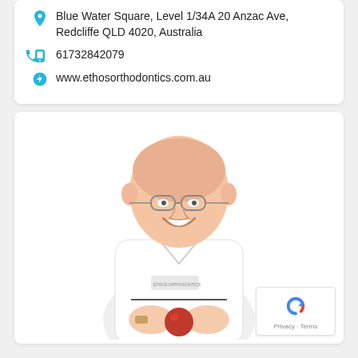Blue Water Square, Level 1/34A 20 Anzac Ave, Redcliffe QLD 4020, Australia
61732842079
www.ethosorthodontics.com.au
[Figure (photo): Photo of a smiling middle-aged bald man wearing glasses and a white medical/dental coat, holding a red object in his hands. He appears to be a dental professional.]